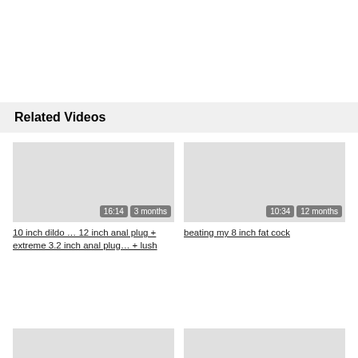Related Videos
[Figure (screenshot): Video thumbnail placeholder for '10 inch dildo … 12 inch anal plug + extreme 3.2 inch anal plug… + lush', duration 16:14, 3 months ago]
10 inch dildo … 12 inch anal plug + extreme 3.2 inch anal plug… + lush
[Figure (screenshot): Video thumbnail placeholder for 'beating my 8 inch fat cock', duration 10:34, 12 months ago]
beating my 8 inch fat cock
[Figure (screenshot): Video thumbnail placeholder, duration 13:04, 5 months ago]
[Figure (screenshot): Video thumbnail placeholder, duration 12:54, 3 months ago]